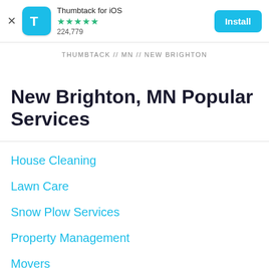[Figure (screenshot): App install banner with Thumbtack logo, star rating, review count, and Install button]
THUMBTACK // MN // NEW BRIGHTON
New Brighton, MN Popular Services
House Cleaning
Lawn Care
Snow Plow Services
Property Management
Movers